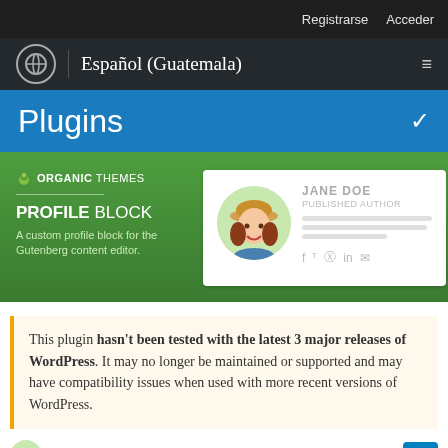Registrarse  Acceder
Español (Guatemala)
Plugins
[Figure (screenshot): Plugin card for Profile Block by Organic Themes showing a cartoon woman avatar named Jane Doe, Published Author, with social media icons]
This plugin hasn't been tested with the latest 3 major releases of WordPress. It may no longer be maintained or supported and may have compatibility issues when used with more recent versions of WordPress.